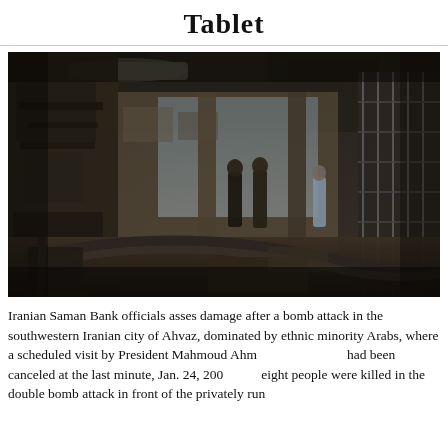Tablet
[Figure (photo): Interior of a fire-damaged building, charred walls and debris, people standing inside surveying the destruction — Iranian Saman Bank after bomb attack in Ahvaz, Iran.]
Iranian Saman Bank officials asses damage after a bomb attack in the southwestern Iranian city of Ahvaz, dominated by ethnic minority Arabs, where a scheduled visit by President Mahmoud Ahm... had been canceled at the last minute, Jan. 24, 200... eight people were killed in the double bomb attack in front of the privately run